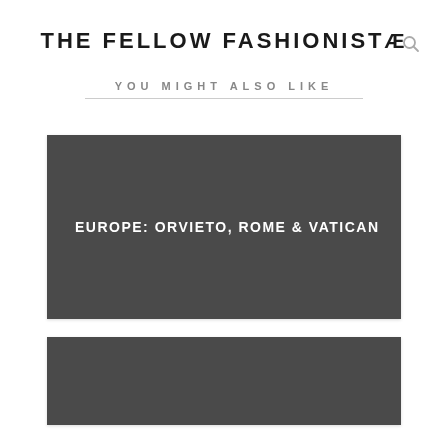THE FELLOW FASHIONISTA
YOU MIGHT ALSO LIKE
[Figure (other): Dark gray card placeholder image for blog post 'EUROPE: ORVIETO, ROME & VATICAN']
[Figure (other): Dark gray card placeholder image for a second blog post]